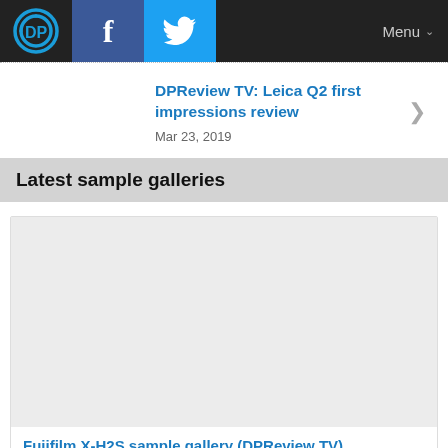DPReview navigation bar with logo, Facebook, Twitter icons and Menu button
DPReview TV: Leica Q2 first impressions review
Mar 23, 2019
Latest sample galleries
[Figure (photo): Fujifilm X-H2S sample gallery thumbnail placeholder (grey box)]
Fujifilm X-H2S sample gallery (DPReview TV)